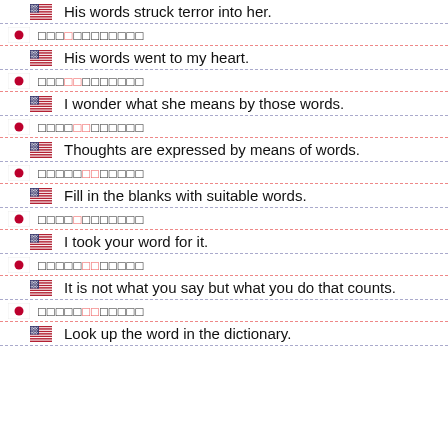His words struck terror into her.
His words went to my heart.
I wonder what she means by those words.
Thoughts are expressed by means of words.
Fill in the blanks with suitable words.
I took your word for it.
It is not what you say but what you do that counts.
Look up the word in the dictionary.